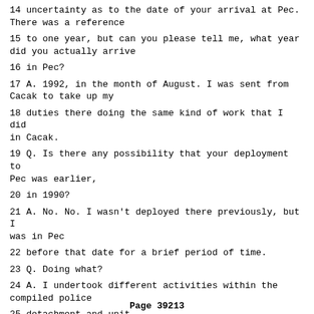14 uncertainty as to the date of your arrival at Pec. There was a reference
15 to one year, but can you please tell me, what year did you actually arrive
16 in Pec?
17 A. 1992, in the month of August. I was sent from Cacak to take up my
18 duties there doing the same kind of work that I did in Cacak.
19 Q. Is there any possibility that your deployment to Pec was earlier,
20 in 1990?
21 A. No. No. I wasn't deployed there previously, but I was in Pec
22 before that date for a brief period of time.
23 Q. Doing what?
24 A. I undertook different activities within the compiled police
25 detachment and unit.
Page 39213